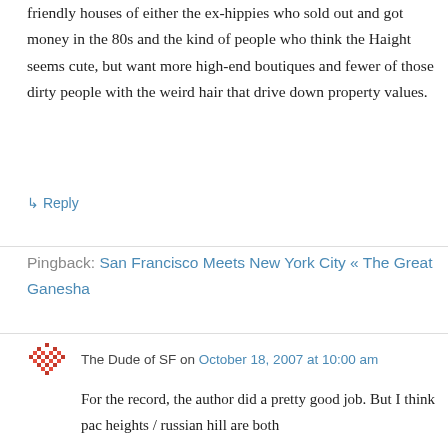friendly houses of either the ex-hippies who sold out and got money in the 80s and the kind of people who think the Haight seems cute, but want more high-end boutiques and fewer of those dirty people with the weird hair that drive down property values.
↳ Reply
Pingback: San Francisco Meets New York City « The Great Ganesha
The Dude of SF on October 18, 2007 at 10:00 am
For the record, the author did a pretty good job. But I think pac heights / russian hill are both